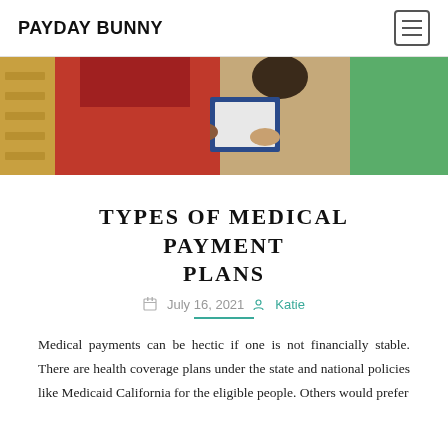PAYDAY BUNNY
[Figure (photo): Two people exchanging documents, one wearing a red jacket, outdoors with colorful background]
TYPES OF MEDICAL PAYMENT PLANS
July 16, 2021  Katie
Medical payments can be hectic if one is not financially stable. There are health coverage plans under the state and national policies like Medicaid California for the eligible people. Others would prefer